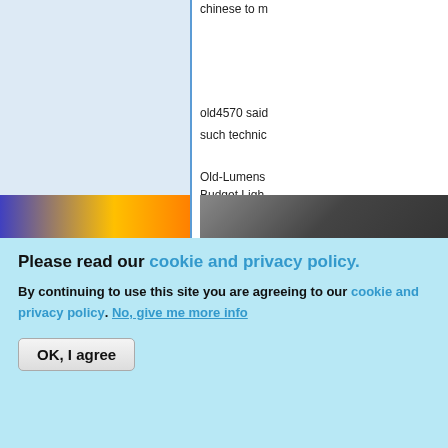[Figure (screenshot): Forum thread partial view showing blue avatar/content cell on left, text on right with usernames old4570 and Old-Lumens mentioning Budget Light]
chinese to m
old4570 said such technic
Old-Lumens Budget Ligh
[Figure (screenshot): Top button (arrow up icon) with label Top]
Thu, 08/07/2014 - 06:24
Suncoaster
What buil
[Figure (photo): Partial image with blue and orange colors]
[Figure (photo): Partial dark image]
Please read our cookie and privacy policy.
By continuing to use this site you are agreeing to our cookie and privacy policy. No, give me more info
OK, I agree